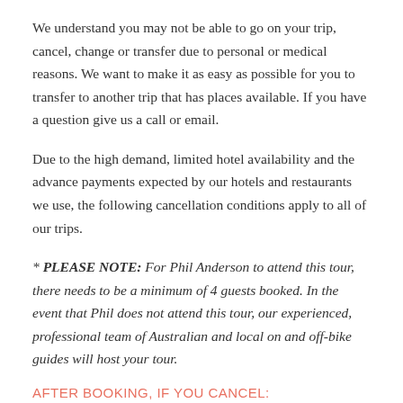We understand you may not be able to go on your trip, cancel, change or transfer due to personal or medical reasons. We want to make it as easy as possible for you to transfer to another trip that has places available. If you have a question give us a call or email.
Due to the high demand, limited hotel availability and the advance payments expected by our hotels and restaurants we use, the following cancellation conditions apply to all of our trips.
* PLEASE NOTE: For Phil Anderson to attend this tour, there needs to be a minimum of 4 guests booked. In the event that Phil does not attend this tour, our experienced, professional team of Australian and local on and off-bike guides will host your tour.
AFTER BOOKING, IF YOU CANCEL: